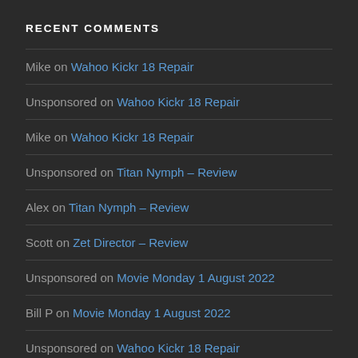RECENT COMMENTS
Mike on Wahoo Kickr 18 Repair
Unsponsored on Wahoo Kickr 18 Repair
Mike on Wahoo Kickr 18 Repair
Unsponsored on Titan Nymph – Review
Alex on Titan Nymph – Review
Scott on Zet Director – Review
Unsponsored on Movie Monday 1 August 2022
Bill P on Movie Monday 1 August 2022
Unsponsored on Wahoo Kickr 18 Repair